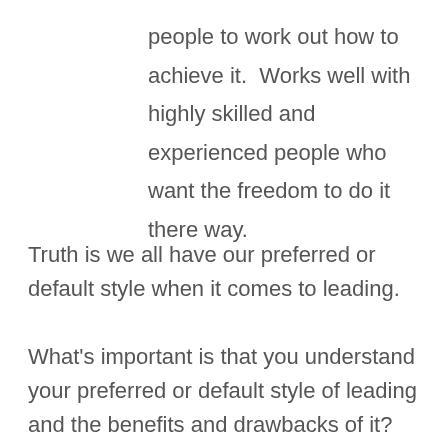people to work out how to achieve it.  Works well with highly skilled and experienced people who want the freedom to do it there way.
Truth is we all have our preferred or default style when it comes to leading.
What's important is that you understand your preferred or default style of leading and the benefits and drawbacks of it?